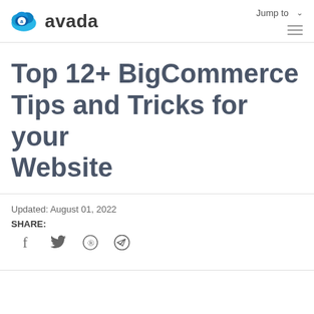avada | Jump to | menu
Top 12+ BigCommerce Tips and Tricks for your Website
Updated: August 01, 2022
SHARE:
[Figure (other): Social share icons: Facebook, Twitter, Pinterest, Telegram]